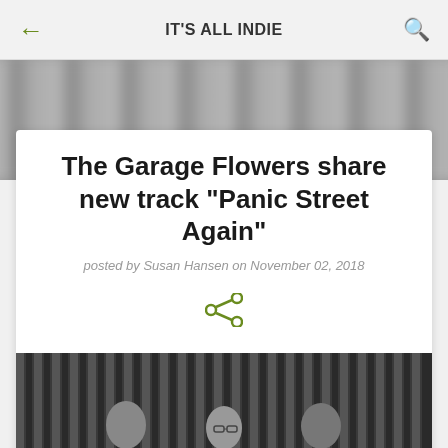IT'S ALL INDIE
[Figure (photo): Blurred grayscale background photo strip]
The Garage Flowers share new track "Panic Street Again"
posted by Susan Hansen on November 02, 2018
[Figure (illustration): Share icon (green)]
[Figure (photo): Black and white photo of three band members standing in front of vertical corrugated metal backdrop]